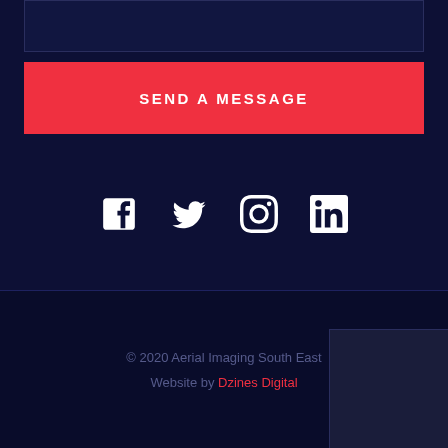[Figure (screenshot): Textarea input field with dark navy background, partially visible at top]
SEND A MESSAGE
[Figure (infographic): Social media icons row: Facebook, Twitter, Instagram, LinkedIn — white on dark navy background]
© 2020 Aerial Imaging South East
Website by Dzines Digital